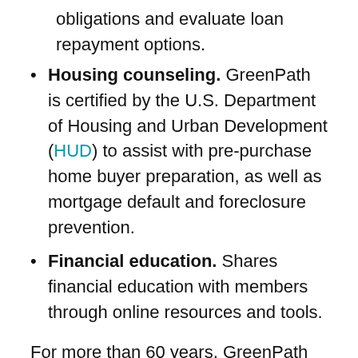obligations and evaluate loan repayment options.
Housing counseling. GreenPath is certified by the U.S. Department of Housing and Urban Development (HUD) to assist with pre-purchase home buyer preparation, as well as mortgage default and foreclosure prevention.
Financial education. Shares financial education with members through online resources and tools.
For more than 60 years, GreenPath has provided debt management plans; financial, housing and student loan counseling; and financial coaching. In 2021, $237 million was paid toward debt